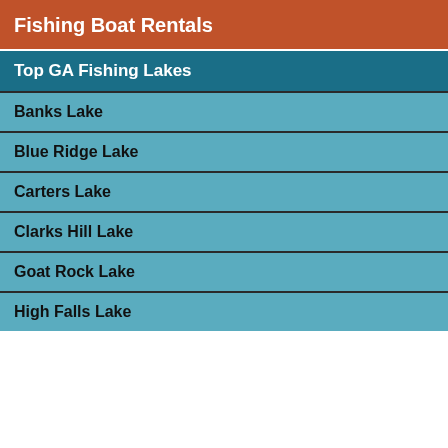Fishing Boat Rentals
Top GA Fishing Lakes
Banks Lake
Blue Ridge Lake
Carters Lake
Clarks Hill Lake
Goat Rock Lake
High Falls Lake